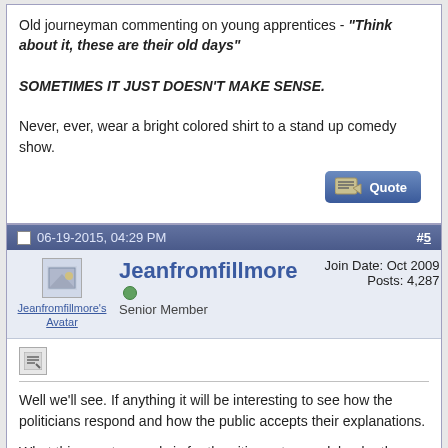Old journeyman commenting on young apprentices - "Think about it, these are their old days"

SOMETIMES IT JUST DOESN'T MAKE SENSE.

Never, ever, wear a bright colored shirt to a stand up comedy show.
06-19-2015, 04:29 PM
#5
Jeanfromfillmore
Senior Member
Join Date: Oct 2009
Posts: 4,287
Well we'll see. If anything it will be interesting to see how the politicians respond and how the public accepts their explanations.

What this country needs is for the citizens to speak louder than the media; to actually start yelling. It is the media that needs a lesson in civics and journalism. If they begin to realize no one believes their crap or depends on them for the truth, then maybe they'll stop trying to lead us down the spiral this country is in.